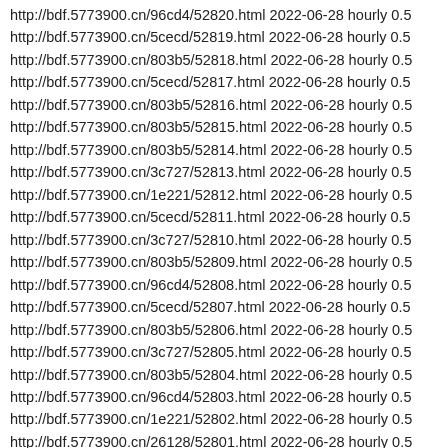http://bdf.5773900.cn/96cd4/52820.html 2022-06-28 hourly 0.5
http://bdf.5773900.cn/5cecd/52819.html 2022-06-28 hourly 0.5
http://bdf.5773900.cn/803b5/52818.html 2022-06-28 hourly 0.5
http://bdf.5773900.cn/5cecd/52817.html 2022-06-28 hourly 0.5
http://bdf.5773900.cn/803b5/52816.html 2022-06-28 hourly 0.5
http://bdf.5773900.cn/803b5/52815.html 2022-06-28 hourly 0.5
http://bdf.5773900.cn/803b5/52814.html 2022-06-28 hourly 0.5
http://bdf.5773900.cn/3c727/52813.html 2022-06-28 hourly 0.5
http://bdf.5773900.cn/1e221/52812.html 2022-06-28 hourly 0.5
http://bdf.5773900.cn/5cecd/52811.html 2022-06-28 hourly 0.5
http://bdf.5773900.cn/3c727/52810.html 2022-06-28 hourly 0.5
http://bdf.5773900.cn/803b5/52809.html 2022-06-28 hourly 0.5
http://bdf.5773900.cn/96cd4/52808.html 2022-06-28 hourly 0.5
http://bdf.5773900.cn/5cecd/52807.html 2022-06-28 hourly 0.5
http://bdf.5773900.cn/803b5/52806.html 2022-06-28 hourly 0.5
http://bdf.5773900.cn/3c727/52805.html 2022-06-28 hourly 0.5
http://bdf.5773900.cn/803b5/52804.html 2022-06-28 hourly 0.5
http://bdf.5773900.cn/96cd4/52803.html 2022-06-28 hourly 0.5
http://bdf.5773900.cn/1e221/52802.html 2022-06-28 hourly 0.5
http://bdf.5773900.cn/26128/52801.html 2022-06-28 hourly 0.5
http://bdf.5773900.cn/803b5/52800.html 2022-06-28 hourly 0.5
http://bdf.5773900.cn/5cecd/52799.html 2022-06-28 hourly 0.5
http://bdf.5773900.cn/1e221/52798.html 2022-06-28 hourly 0.5
http://bdf.5773900.cn/26128/52797.html 2022-06-28 hourly 0.5
http://bdf.5773900.cn/803b5/52796.html 2022-06-28 hourly 0.5